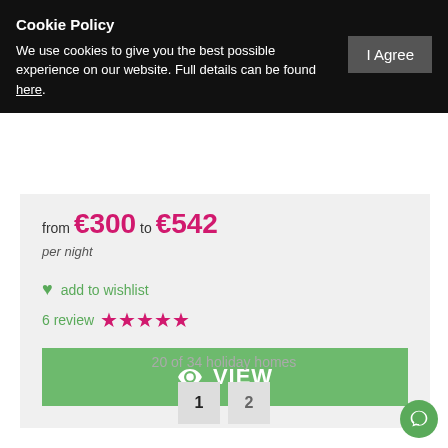Cookie Policy
We use cookies to give you the best possible experience on our website. Full details can be found here.
from €300 to €542
per night
add to wishlist
6 review ★★★★★
VIEW
20 of 34 holiday homes
1  2